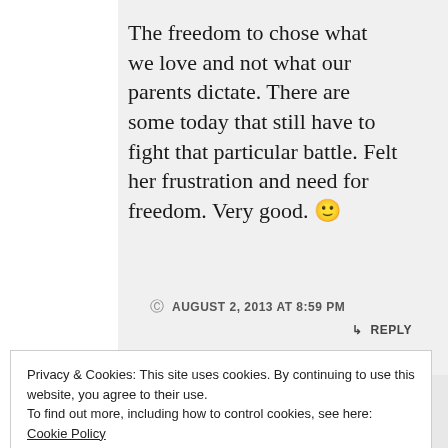The freedom to chose what we love and not what our parents dictate. There are some today that still have to fight that particular battle. Felt her frustration and need for freedom. Very good. 🙂
AUGUST 2, 2013 AT 8:59 PM
↳ REPLY
Privacy & Cookies: This site uses cookies. By continuing to use this website, you agree to their use. To find out more, including how to control cookies, see here: Cookie Policy
Close and accept